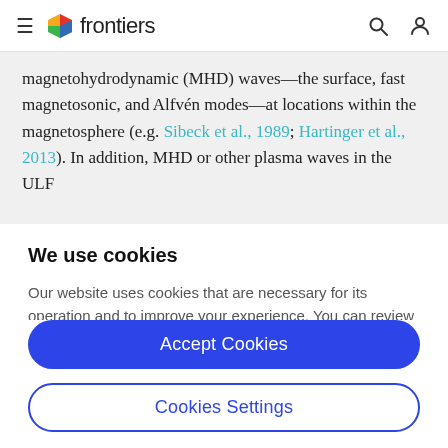frontiers
magnetohydrodynamic (MHD) waves—the surface, fast magnetosonic, and Alfvén modes—at locations within the magnetosphere (e.g. Sibeck et al., 1989; Hartinger et al., 2013). In addition, MHD or other plasma waves in the ULF
We use cookies
Our website uses cookies that are necessary for its operation and to improve your experience. You can review and control your cookies by clicking on "Accept All" or on "Cookies Settings".
Accept Cookies
Cookies Settings